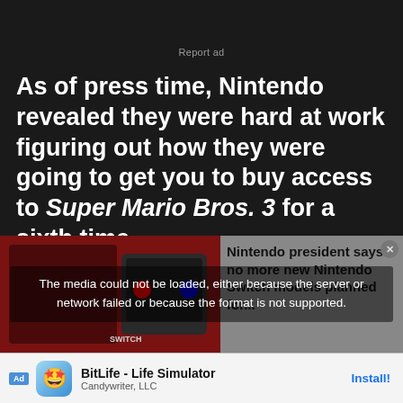Report ad
As of press time, Nintendo revealed they were hard at work figuring out how they were going to get you to buy access to Super Mario Bros. 3 for a sixth time.
[Figure (screenshot): Nintendo Switch console box product image with red background]
The media could not be loaded, either because the server or network failed or because the format is not supported.
Nintendo president says no more new Nintendo Switch models planned for...
Sonic the Hedgehog Speaks Out: I Have Never Been
Here's Every freefami
close
Ad  BitLife - Life Simulator  Candywriter, LLC  Install!